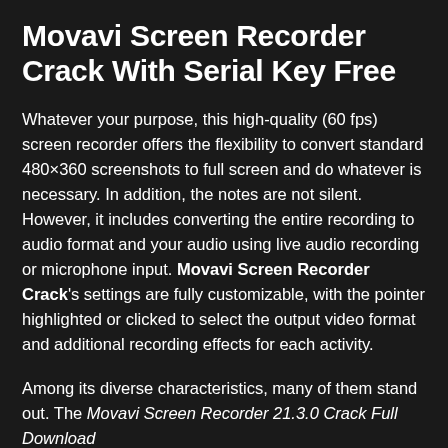Movavi Screen Recorder Crack With Serial Key Free
Whatever your purpose, this high-quality (60 fps) screen recorder offers the flexibility to convert standard 480×360 screenshots to full screen and do whatever is necessary. In addition, the notes are not silent. However, it includes converting the entire recording to audio format and your audio using live audio recording or microphone input. Movavi Screen Recorder Crack's settings are fully customizable, with the pointer highlighted or clicked to select the output video format and additional recording effects for each activity.
Among its diverse characteristics, many of them stand out. The Movavi Screen Recorder 21.3.0 Crack Full Download